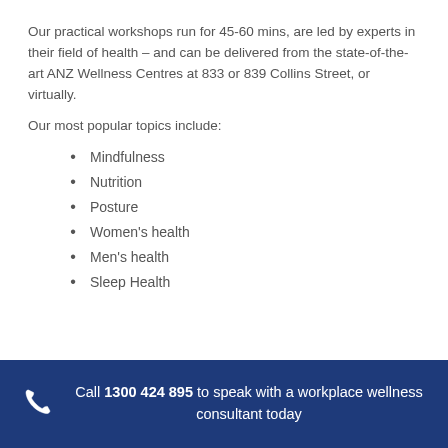Our practical workshops run for 45-60 mins, are led by experts in their field of health – and can be delivered from the state-of-the-art ANZ Wellness Centres at 833 or 839 Collins Street, or virtually.
Our most popular topics include:
Mindfulness
Nutrition
Posture
Women's health
Men's health
Sleep Health
Call 1300 424 895 to speak with a workplace wellness consultant today